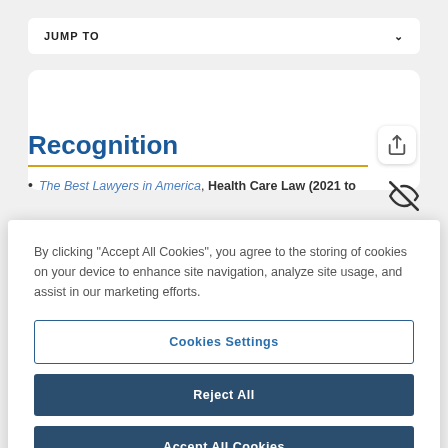JUMP TO
Recognition
The Best Lawyers in America, Health Care Law (2021 to
By clicking "Accept All Cookies", you agree to the storing of cookies on your device to enhance site navigation, analyze site usage, and assist in our marketing efforts.
Cookies Settings
Reject All
Accept All Cookies